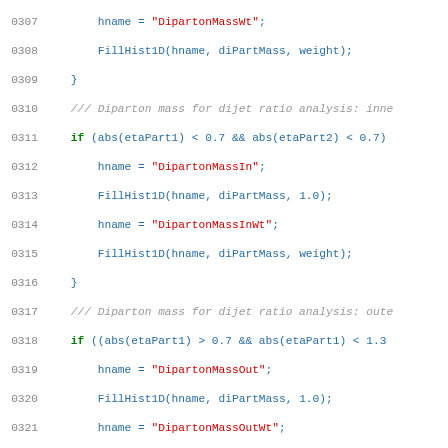Source code listing lines 0307-0336, C++ code for JetAnaPythia class with histogram filling and TTree operations